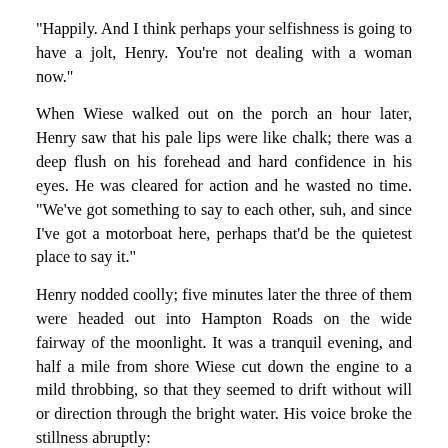“Happily. And I think perhaps your selfishness is going to have a jolt, Henry. You’re not dealing with a woman now.”
When Wiese walked out on the porch an hour later, Henry saw that his pale lips were like chalk; there was a deep flush on his forehead and hard confidence in his eyes. He was cleared for action and he wasted no time. “We’ve got something to say to each other, suh, and since I’ve got a motorboat here, perhaps that’d be the quietest place to say it.”
Henry nodded coolly; five minutes later the three of them were headed out into Hampton Roads on the wide fairway of the moonlight. It was a tranquil evening, and half a mile from shore Wiese cut down the engine to a mild throbbing, so that they seemed to drift without will or direction through the bright water. His voice broke the stillness abruptly:
“Marston, I’m going to talk to you straight from the shoulder. I love Choupette and I’m not apologizing for it. These things have happened before in this world. I guess you understand that. The only difficulty is this matter of the custody of Choupette’s children. You seem determined to try and take them away from the mother that bore them and raised them”—Wiese’s words became more dearly